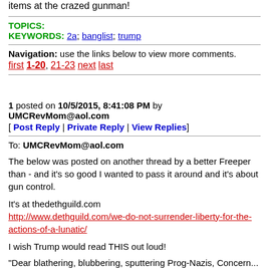items at the crazed gunman!
TOPICS:
KEYWORDS: 2a; banglist; trump
Navigation: use the links below to view more comments.
first 1-20, 21-23 next last
1 posted on 10/5/2015, 8:41:08 PM by UMCRevMom@aol.com
[ Post Reply | Private Reply | View Replies]
To: UMCRevMom@aol.com
The below was posted on another thread by a better Freeper than - and it’s so good I wanted to pass it around and it’s about gun control.
It’s at thedethguild.com
http://www.dethguild.com/we-do-not-surrender-liberty-for-the-actions-of-a-lunatic/
I wish Trump would read THIS out loud!
“Dear blathering, blubbering, sputtering Prog-Nazis, Concern...